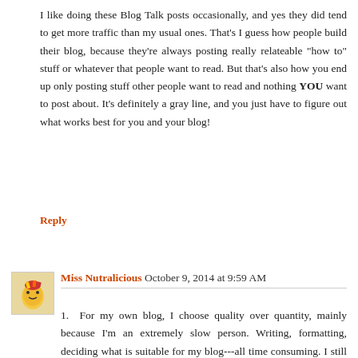I like doing these Blog Talk posts occasionally, and yes they did tend to get more traffic than my usual ones. That's I guess how people build their blog, because they're always posting really relateable "how to" stuff or whatever that people want to read. But that's also how you end up only posting stuff other people want to read and nothing YOU want to post about. It's definitely a gray line, and you just have to figure out what works best for you and your blog!
Reply
Miss Nutralicious October 9, 2014 at 9:59 AM
1. For my own blog, I choose quality over quantity, mainly because I'm an extremely slow person. Writing, formatting, deciding what is suitable for my blog---all time consuming. I still feel like a semi-new blogger and I'm still deciding which direction I want to take my